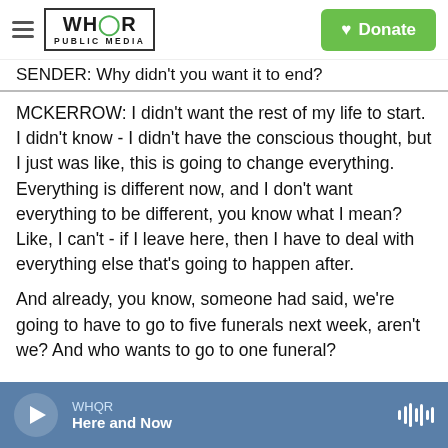WHQR PUBLIC MEDIA | Donate
SENDER: Why didn't you want it to end?
MCKERROW: I didn't want the rest of my life to start. I didn't know - I didn't have the conscious thought, but I just was like, this is going to change everything. Everything is different now, and I don't want everything to be different, you know what I mean? Like, I can't - if I leave here, then I have to deal with everything else that's going to happen after.
And already, you know, someone had said, we're going to have to go to five funerals next week, aren't we? And who wants to go to one funeral?
WHQR | Here and Now